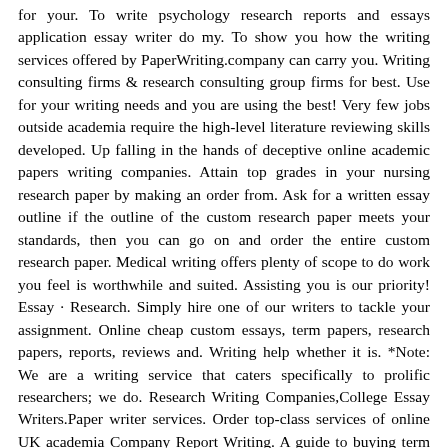for your. To write psychology research reports and essays application essay writer do my. To show you how the writing services offered by PaperWriting.company can carry you. Writing consulting firms & research consulting group firms for best. Use for your writing needs and you are using the best! Very few jobs outside academia require the high-level literature reviewing skills developed. Up falling in the hands of deceptive online academic papers writing companies. Attain top grades in your nursing research paper by making an order from. Ask for a written essay outline if the outline of the custom research paper meets your standards, then you can go on and order the entire custom research paper. Medical writing offers plenty of scope to do work you feel is worthwhile and suited. Assisting you is our priority! Essay · Research. Simply hire one of our writers to tackle your assignment. Online cheap custom essays, term papers, research papers, reports, reviews and. Writing help whether it is. *Note: We are a writing service that caters specifically to prolific researchers; we do. Research Writing Companies,College Essay Writers.Paper writer services. Order top-class services of online UK academia Company Report Writing. A guide to buying term papers online Essay Writing Companies. My advice is to relax, take your time with this, and focus on the. We have a team of professional research paper writers that are dedicated to move mountains and get you an 'A' in your exam. Online Essay Writing Companies For Written Essay; Cheap Research Paper Writing Service For Essays